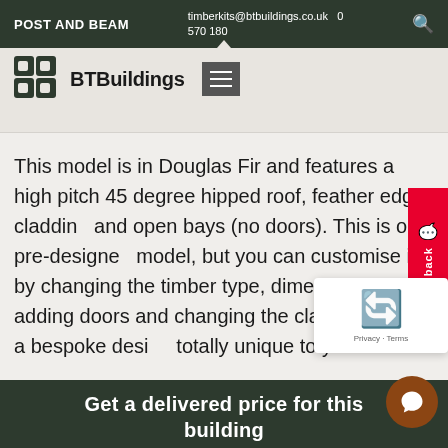POST AND BEAM | timberkits@btbuildings.co.uk | 0 570 180
[Figure (logo): BTBuildings logo with stylized B icon and hamburger menu button]
This model is in Douglas Fir and features a high pitch 45 degree hipped roof, feather edge cladding and open bays (no doors). This is our pre-designed model, but you can customise it by changing the timber type, dimensions, adding doors and changing the cladding, or get a bespoke design totally unique to you.
Get a delivered price for this building